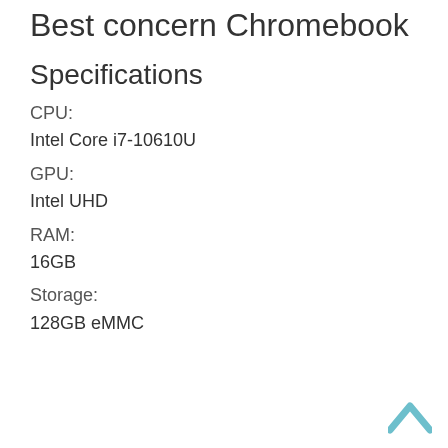Best concern Chromebook
Specifications
CPU:
Intel Core i7-10610U
GPU:
Intel UHD
RAM:
16GB
Storage:
128GB eMMC